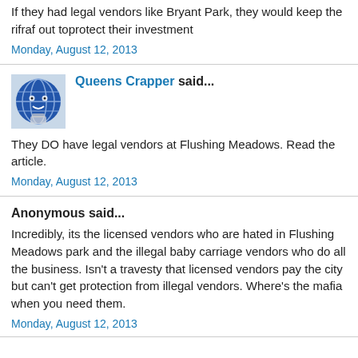If they had legal vendors like Bryant Park, they would keep the rifraf out toprotect their investment
Monday, August 12, 2013
Queens Crapper said...
[Figure (photo): Avatar image of Queens Crapper — cartoon globe character]
They DO have legal vendors at Flushing Meadows. Read the article.
Monday, August 12, 2013
Anonymous said...
Incredibly, its the licensed vendors who are hated in Flushing Meadows park and the illegal baby carriage vendors who do all the business. Isn't a travesty that licensed vendors pay the city but can't get protection from illegal vendors. Where's the mafia when you need them.
Monday, August 12, 2013